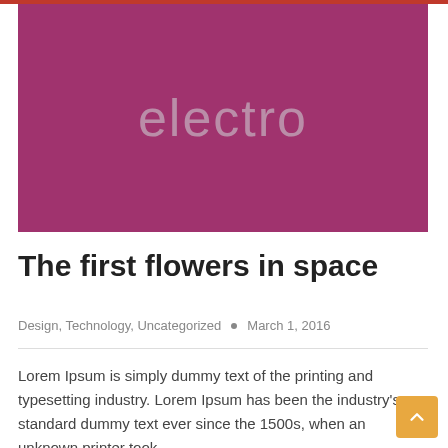[Figure (illustration): Hero image with magenta/pink background and the word 'electro' in large light grey letters centered on it]
The first flowers in space
Design, Technology, Uncategorized  •  March 1, 2016
Lorem Ipsum is simply dummy text of the printing and typesetting industry. Lorem Ipsum has been the industry's standard dummy text ever since the 1500s, when an unknown printer took